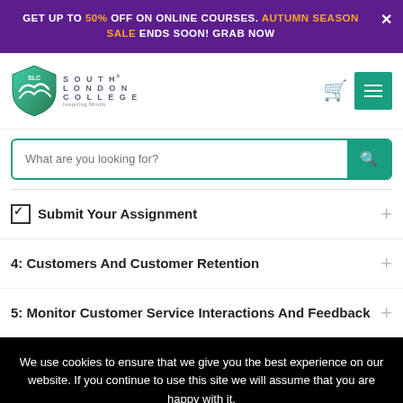GET UP TO 50% OFF ON ONLINE COURSES. AUTUMN SEASON SALE ENDS SOON! GRAB NOW
[Figure (logo): South London College (SLC) shield logo with teal and green gradient, and text 'SOUTH LONDON COLLEGE Inspiring Minds']
What are you looking for? [search bar]
☑ Submit Your Assignment
4: Customers And Customer Retention
5: Monitor Customer Service Interactions And Feedback
We use cookies to ensure that we give you the best experience on our website. If you continue to use this site we will assume that you are happy with it.
Ok  ×